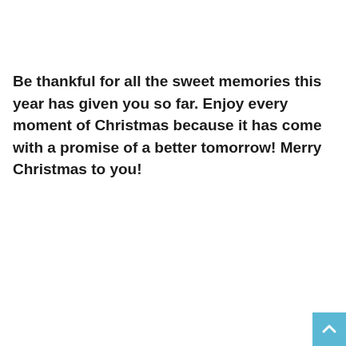Be thankful for all the sweet memories this year has given you so far. Enjoy every moment of Christmas because it has come with a promise of a better tomorrow! Merry Christmas to you!